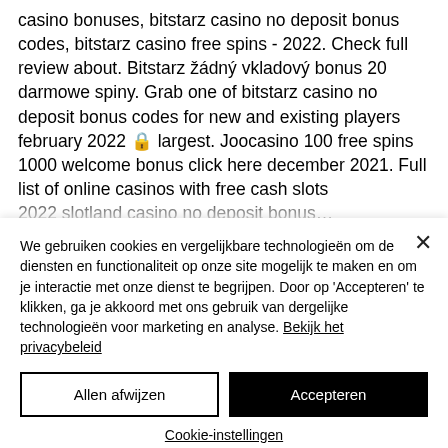casino bonuses, bitstarz casino no deposit bonus codes, bitstarz casino free spins - 2022. Check full review about. Bitstarz žádný vkladový bonus 20 darmowe spiny. Grab one of bitstarz casino no deposit bonus codes for new and existing players february 2022 🔒 largest. Joocasino 100 free spins 1000 welcome bonus click here december 2021. Full list of online casinos with free cash slots 2022 slotland casino no deposit bonus…
We gebruiken cookies en vergelijkbare technologieën om de diensten en functionaliteit op onze site mogelijk te maken en om je interactie met onze dienst te begrijpen. Door op 'Accepteren' te klikken, ga je akkoord met ons gebruik van dergelijke technologieën voor marketing en analyse. Bekijk het privacybeleid
Allen afwijzen
Accepteren
Cookie-instellingen